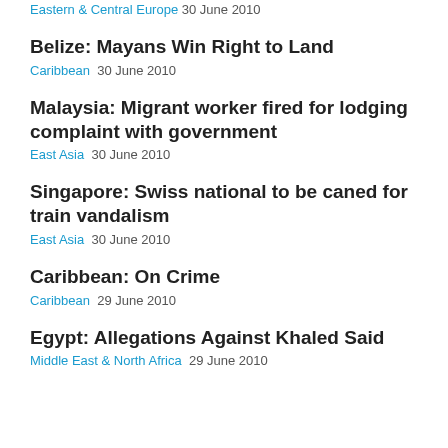Eastern & Central Europe  30 June 2010
Belize: Mayans Win Right to Land
Caribbean  30 June 2010
Malaysia: Migrant worker fired for lodging complaint with government
East Asia  30 June 2010
Singapore: Swiss national to be caned for train vandalism
East Asia  30 June 2010
Caribbean: On Crime
Caribbean  29 June 2010
Egypt: Allegations Against Khaled Said
Middle East & North Africa  29 June 2010